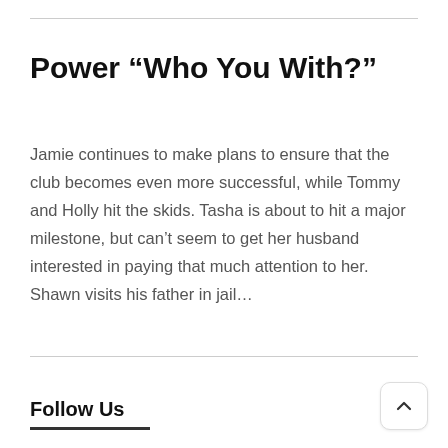Power “Who You With?”
Jamie continues to make plans to ensure that the club becomes even more successful, while Tommy and Holly hit the skids. Tasha is about to hit a major milestone, but can’t seem to get her husband interested in paying that much attention to her. Shawn visits his father in jail…
Follow Us